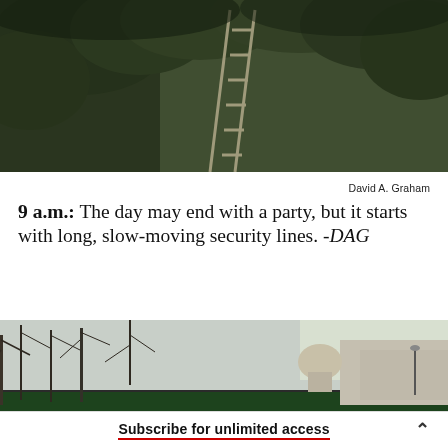[Figure (photo): Trees with branches and a ladder leaning against one, dark foliage, outdoor winter scene]
David A. Graham
9 a.m.: The day may end with a party, but it starts with long, slow-moving security lines. -DAG
[Figure (photo): Outdoor winter scene with bare trees and the US Capitol building dome visible in the background at dusk]
Subscribe for unlimited access